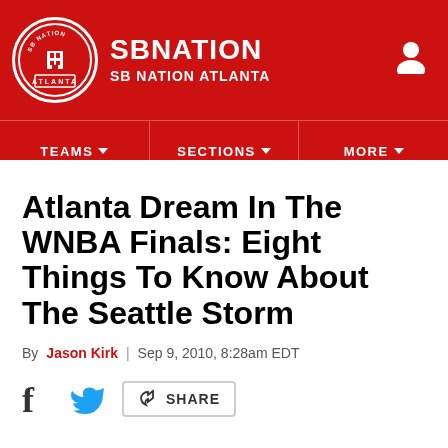SB NATION / SB NATION ATLANTA
Atlanta Dream In The WNBA Finals: Eight Things To Know About The Seattle Storm
By Jason Kirk | Sep 9, 2010, 8:28am EDT
SHARE